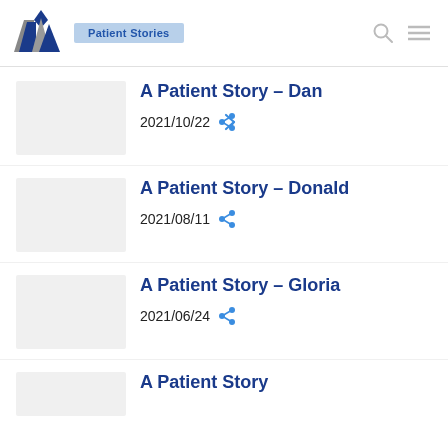Patient Stories
A Patient Story – Dan
2021/10/22
A Patient Story – Donald
2021/08/11
A Patient Story – Gloria
2021/06/24
A Patient Story